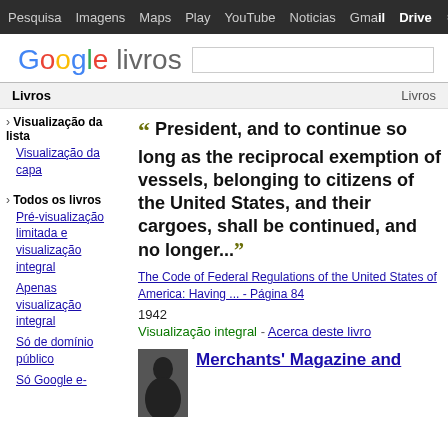Pesquisa  Imagens  Maps  Play  YouTube  Noticias  Gmail  Drive  ⚙  ...
[Figure (logo): Google livros logo with search box]
Livros    Livros
› Visualização da lista
Visualização da capa
› Todos os livros
Pré-visualização limitada e visualização integral
Apenas visualização integral
Só de domínio público
Só Google e-
" President, and to continue so long as the reciprocal exemption of vessels, belonging to citizens of the United States, and their cargoes, shall be continued, and no longer... "
The Code of Federal Regulations of the United States of America: Having ... - Página 84
1942
Visualização integral - Acerca deste livro
Merchants' Magazine and